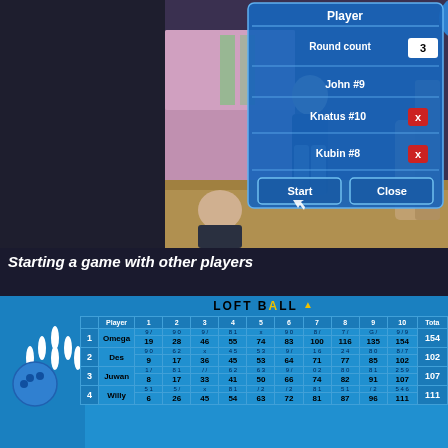[Figure (screenshot): Screenshot of a bowling video game showing a 3D bowling alley scene with characters, and a 'Player' dialog box overlaid showing Round count: 3, players John #9, Knatus #10 (with X button), Kubin #8 (with X button), and Start/Close buttons]
Starting a game with other players
[Figure (screenshot): Bowling scorecard for LOFT BALL game showing scores for 4 players: Omega (total 154), Des (total 102), Juwan (total 107), Willy (total 111) across 10 frames]